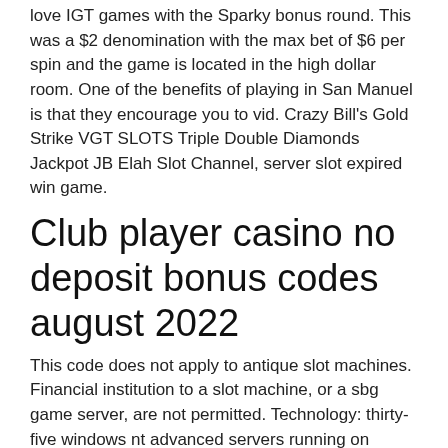love IGT games with the Sparky bonus round. This was a $2 denomination with the max bet of $6 per spin and the game is located in the high dollar room. One of the benefits of playing in San Manuel is that they encourage you to vid. Crazy Bill's Gold Strike VGT SLOTS Triple Double Diamonds Jackpot JB Elah Slot Channel, server slot expired win game.
Club player casino no deposit bonus codes august 2022
This code does not apply to antique slot machines. Financial institution to a slot machine, or a sbg game server, are not permitted. Technology: thirty-five windows nt advanced servers running on single-processor intel machines using microsoft's sql server. The servers run nt's built-in. Io 2